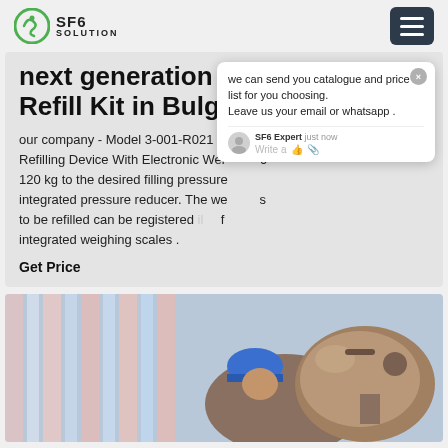SF6 SOLUTION
next generation sf6 gas Refill Kit in Bulgaria
our company - Model 3-001-R021 - Refilling Device With Electronic Wei... 0 - 120 kg to the desired filling pressure... integrated pressure reducer. The we... as to be refilled can be registered ... il... of integrated weighing scales .
Get Price
[Figure (screenshot): Chat popup with SF6 Expert offering to send catalogue and price list, asking for email or whatsapp, with Write a message input area]
[Figure (photo): Worker in blue hard hat working on industrial equipment, a large metal sphere/vessel, with colorful striped background]